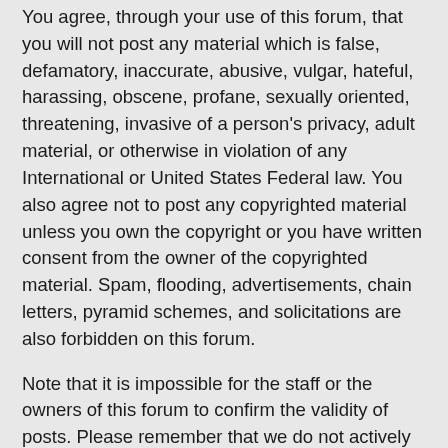You agree, through your use of this forum, that you will not post any material which is false, defamatory, inaccurate, abusive, vulgar, hateful, harassing, obscene, profane, sexually oriented, threatening, invasive of a person's privacy, adult material, or otherwise in violation of any International or United States Federal law. You also agree not to post any copyrighted material unless you own the copyright or you have written consent from the owner of the copyrighted material. Spam, flooding, advertisements, chain letters, pyramid schemes, and solicitations are also forbidden on this forum.
Note that it is impossible for the staff or the owners of this forum to confirm the validity of posts. Please remember that we do not actively monitor the posted messages, and as such, are not responsible for the content contained within. We do not warrant the accuracy, completeness, or usefulness of any information presented. The posted messages express the views of the author, and not necessarily the views of this forum, its staff, its